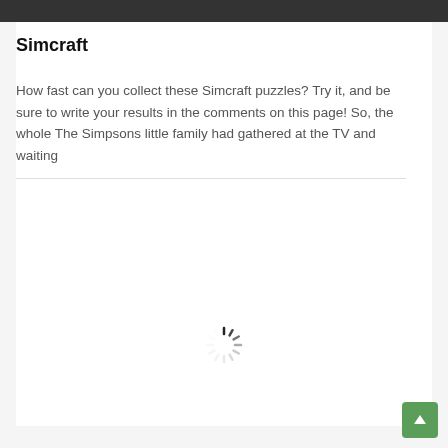Simcraft
How fast can you collect these Simcraft puzzles? Try it, and be sure to write your results in the comments on this page! So, the whole The Simpsons little family had gathered at the TV and waiting
[Figure (other): Loading spinner (circular spinner animation indicator) centered on the lower portion of the page]